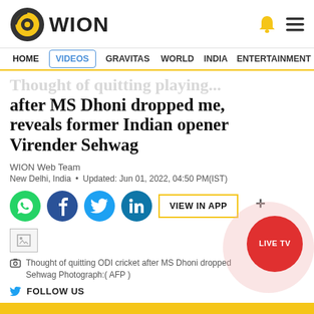WION
HOME  VIDEOS  GRAVITAS  WORLD  INDIA  ENTERTAINMENT  SPORTS
after MS Dhoni dropped me, reveals former Indian opener Virender Sehwag
WION Web Team
New Delhi, India • Updated: Jun 01, 2022, 04:50 PM(IST)
[Figure (screenshot): Social share buttons: WhatsApp, Facebook, Twitter, LinkedIn, and VIEW IN APP button]
[Figure (photo): Broken/loading image placeholder]
Thought of quitting ODI cricket after MS Dhoni dropped Sehwag Photograph:( AFP )
FOLLOW US